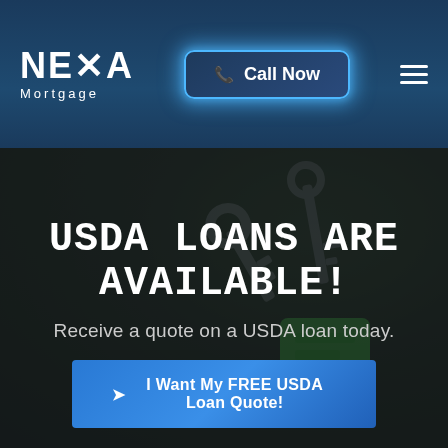[Figure (logo): NEXA Mortgage logo — white bold text on dark navy background]
Call Now
[Figure (screenshot): Hero background photo of house keys on a wooden surface with green keychain, overlaid with dark semi-transparent gradient]
USDA LOANS ARE AVAILABLE!
Receive a quote on a USDA loan today.
I Want My FREE USDA Loan Quote!